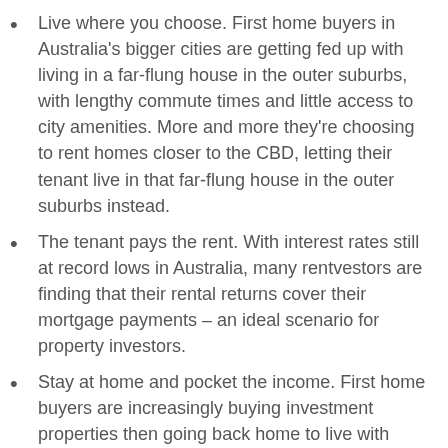Live where you choose. First home buyers in Australia's bigger cities are getting fed up with living in a far-flung house in the outer suburbs, with lengthy commute times and little access to city amenities. More and more they're choosing to rent homes closer to the CBD, letting their tenant live in that far-flung house in the outer suburbs instead.
The tenant pays the rent. With interest rates still at record lows in Australia, many rentvestors are finding that their rental returns cover their mortgage payments – an ideal scenario for property investors.
Stay at home and pocket the income. First home buyers are increasingly buying investment properties then going back home to live with parents. This allows them to save up the rental income for their dream home later on, Andrew Fawell, director of Melbourne's Beller Property Group, said in Domain.